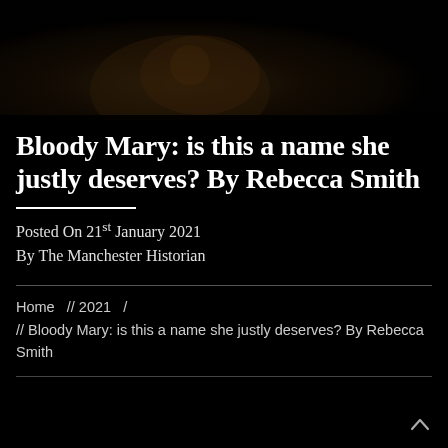[Figure (photo): Dark background area with faint portrait/decorative image of historical figure, mostly black]
Bloody Mary: is this a name she justly deserves? By Rebecca Smith
Posted On 21st January 2021
By The Manchester Historian
Home // 2021 / // Bloody Mary: is this a name she justly deserves? By Rebecca Smith